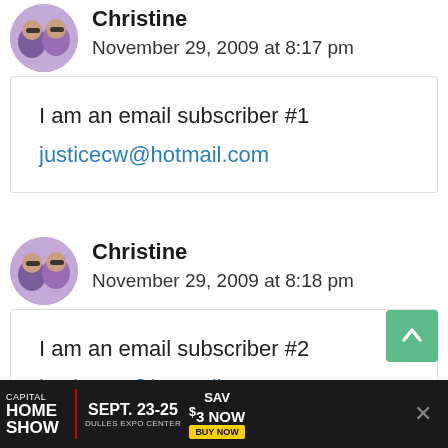[Figure (photo): Round avatar photo of Christine showing two women wearing sunglasses]
Christine
November 29, 2009 at 8:17 pm
I am an email subscriber #1
justicecw@hotmail.com
[Figure (photo): Round avatar photo of Christine showing two women wearing sunglasses]
Christine
November 29, 2009 at 8:18 pm
I am an email subscriber #2
justicecw@hotmail.com
[Figure (infographic): Capital Home Show advertisement banner: SEPT. 23-25 DULLES EXPO CENTER SAV $3 NOW BUY NOW]